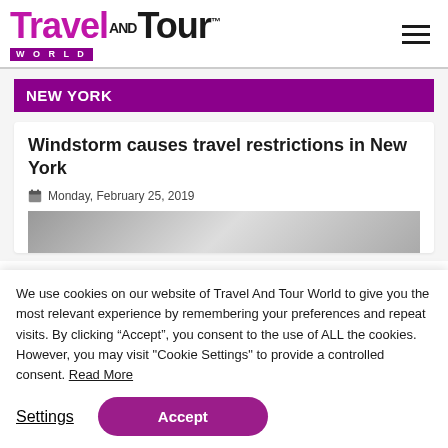Travel AND Tour WORLD
NEW YORK
Windstorm causes travel restrictions in New York
Monday, February 25, 2019
[Figure (photo): Grayscale photo partially visible at bottom of article card]
We use cookies on our website of Travel And Tour World to give you the most relevant experience by remembering your preferences and repeat visits. By clicking “Accept”, you consent to the use of ALL the cookies. However, you may visit "Cookie Settings" to provide a controlled consent. Read More
Settings  Accept